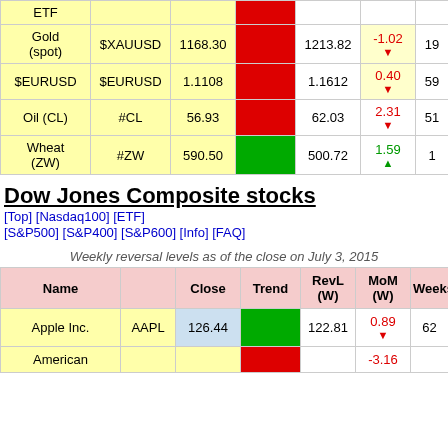| Name | Symbol | Close | Trend | RevL (W) | MoM (W) | Weeks |
| --- | --- | --- | --- | --- | --- | --- |
| ETF |  |  | [red] |  |  |  |
| Gold (spot) | $XAUUSD | 1168.30 | [red] | 1213.82 | -1.02 ▼ | 19 |
| $EURUSD | $EURUSD | 1.1108 | [red] | 1.1612 | 0.40 ▼ | 59 |
| Oil (CL) | #CL | 56.93 | [red] | 62.03 | 2.31 ▼ | 51 |
| Wheat (ZW) | #ZW | 590.50 | [green] | 500.72 | 1.59 ▲ | 1 |
Dow Jones Composite stocks  [Top] [Nasdaq100] [ETF] [S&P500] [S&P400] [S&P600] [Info] [FAQ]
Weekly reversal levels as of the close on July 3, 2015
| Name |  | Close | Trend | RevL (W) | MoM (W) | Weeks |
| --- | --- | --- | --- | --- | --- | --- |
| Apple Inc. | AAPL | 126.44 | [green] | 122.81 | 0.89 ▼ | 62 |
| American |  |  | [red] |  | -3.16 |  |